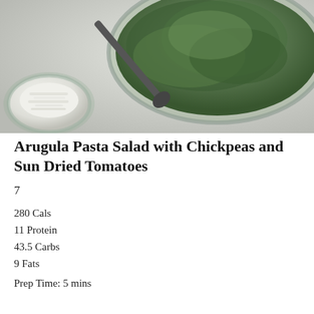[Figure (photo): Overhead photo of a glass bowl with arugula greens and a dark spoon/spatula, with a smaller glass bowl containing white shaved ingredients (likely parmesan), on a light marble surface.]
Arugula Pasta Salad with Chickpeas and Sun Dried Tomatoes
7
280 Cals
11 Protein
43.5 Carbs
9 Fats
Prep Time: 5 mins